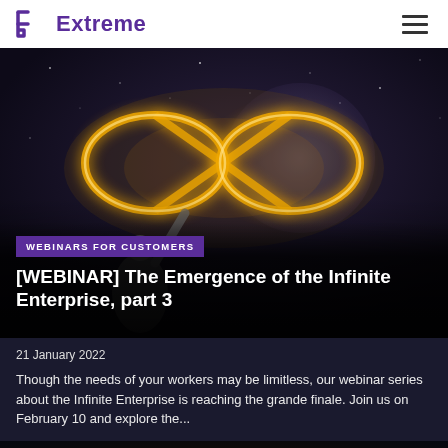Extreme
[Figure (photo): Dark cosmic background with glowing golden infinity symbol, person reaching up toward it. Overlaid text: category badge 'WEBINARS FOR CUSTOMERS', title '[WEBINAR] The Emergence of the Infinite Enterprise, part 3', date '21 January 2022', excerpt text.]
WEBINARS FOR CUSTOMERS
[WEBINAR] The Emergence of the Infinite Enterprise, part 3
21 January 2022
Though the needs of your workers may be limitless, our webinar series about the Infinite Enterprise is reaching the grande finale. Join us on February 10 and explore the...
[Figure (photo): Partial view of circuit board / tech infrastructure image in dark tones with orange and blue highlights.]